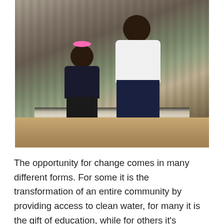[Figure (photo): A photograph of two children standing indoors. A taller child in a white t-shirt and dark navy pants stands behind a smaller child wearing a colorful dark jacket and black leggings with patterns. The smaller child has pink hair accessories. They are standing in front of a patterned curtain, with a striped rug visible on the floor and wooden flooring in the background.]
The opportunity for change comes in many different forms. For some it is the transformation of an entire community by providing access to clean water, for many it is the gift of education, while for others it's providing the opportunity to be in a loving and stable home.